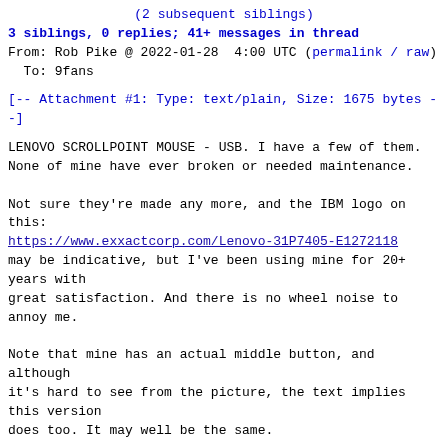(2 subsequent siblings)
3 siblings, 0 replies; 41+ messages in thread
From: Rob Pike @ 2022-01-28  4:00 UTC (permalink / raw)
  To: 9fans
[-- Attachment #1: Type: text/plain, Size: 1675 bytes --]
LENOVO SCROLLPOINT MOUSE - USB. I have a few of them.
None of mine have ever broken or needed maintenance.

Not sure they're made any more, and the IBM logo on
this:
https://www.exxactcorp.com/Lenovo-31P7405-E1272118
may be indicative, but I've been using mine for 20+
years with
great satisfaction. And there is no wheel noise to
annoy me.

Note that mine has an actual middle button, and
although
it's hard to see from the picture, the text implies
this version
does too. It may well be the same.


-rob


On Fri, Jan 28, 2022 at 2:49 PM Ben Hancock